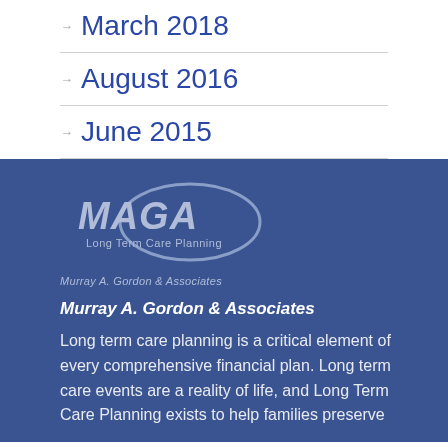March 2018
August 2016
June 2015
[Figure (logo): MAGA Long Term Care Planning logo with swoosh, Murray A. Gordon & Associates]
Murray A. Gordon & Associates
Long term care planning is a critical element of every comprehensive financial plan. Long term care events are a reality of life, and Long Term Care Planning exists to help families preserve...